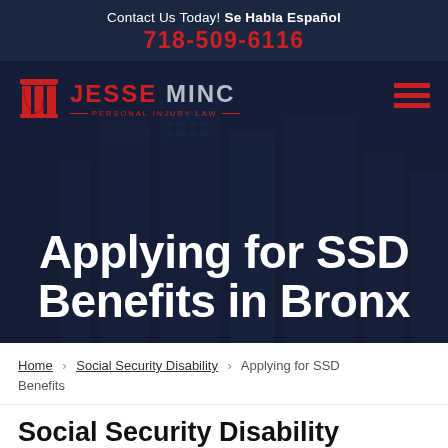Contact Us Today! Se Habla Español
718-509-6116
[Figure (logo): Jesse Minc Personal Injury Law logo with red column icon, firm name, and hamburger menu. Hero section with title 'Applying for SSD Benefits in Bronx' overlaid on dark cityscape background.]
Home > Social Security Disability > Applying for SSD Benefits
Social Security Disability Lawyers Helping Claimants in the Bronx